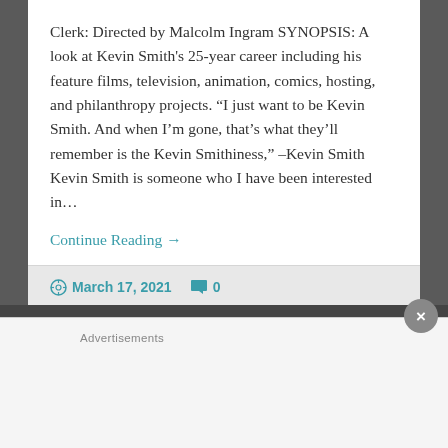Clerk: Directed by Malcolm Ingram SYNOPSIS: A look at Kevin Smith's 25-year career including his feature films, television, animation, comics, hosting, and philanthropy projects. “I just want to be Kevin Smith. And when I’m gone, that’s what they’ll remember is the Kevin Smithiness,” –Kevin Smith Kevin Smith is someone who I have been interested in...
Continue Reading →
March 17, 2021   0
Advertisements